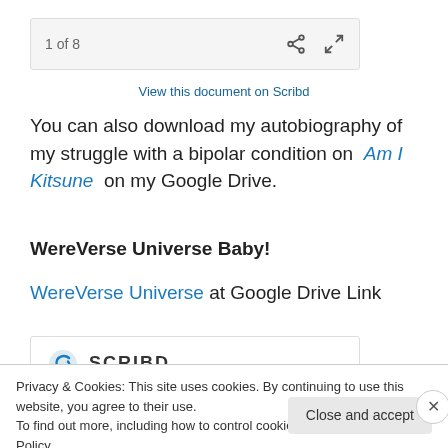1 of 8
View this document on Scribd
You can also download my autobiography of my struggle with a bipolar condition on Am I Kitsune on my Google Drive.
WereVerse Universe Baby!
WereVerse Universe at Google Drive Link
[Figure (logo): Scribd logo with spiral icon and SCRIBD text]
Privacy & Cookies: This site uses cookies. By continuing to use this website, you agree to their use.
To find out more, including how to control cookies, see here: Cookie Policy
Close and accept